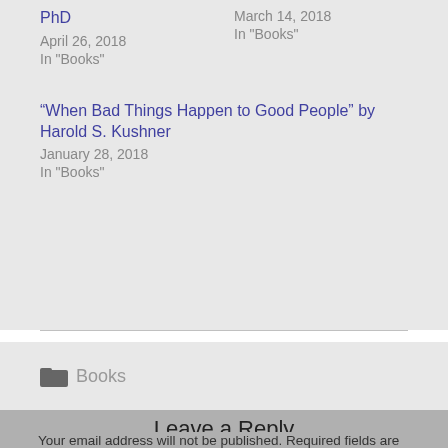PhD
April 26, 2018
In "Books"
March 14, 2018
In "Books"
“When Bad Things Happen to Good People” by Harold S. Kushner
January 28, 2018
In "Books"
Books
Leave a Reply
Your email address will not be published. Required fields are marked *